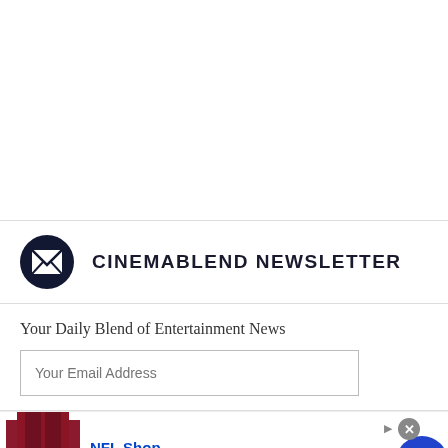[Figure (other): White blank space at top of page]
CINEMABLEND NEWSLETTER
Your Daily Blend of Entertainment News
Your Email Address
[Figure (other): Advertisement banner for NFL Shop. Shows NFL Shop logo, text 'Free shipping on orders over $25', URL 'www.nflshop.com', a SHOP NOW button, and a right-arrow navigation button.]